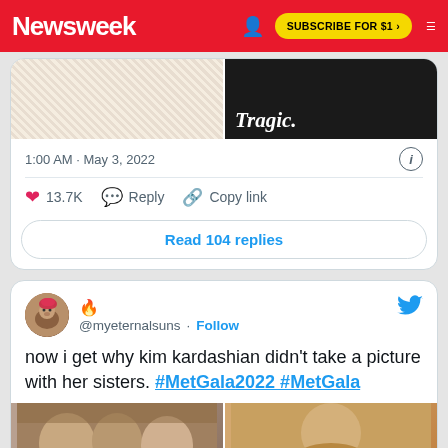Newsweek — SUBSCRIBE FOR $1 >
[Figure (screenshot): Two side-by-side photos in tweet card: left shows a white fur outfit, right shows a black outfit with text 'Tragic.']
1:00 AM · May 3, 2022
❤ 13.7K   Reply   Copy link
Read 104 replies
@myeternalsuns · Follow
now i get why kim kardashian didn't take a picture with her sisters. #MetGala2022 #MetGala
[Figure (screenshot): Two side-by-side photos: left shows group of women (kardashians), right shows Kim Kardashian solo]